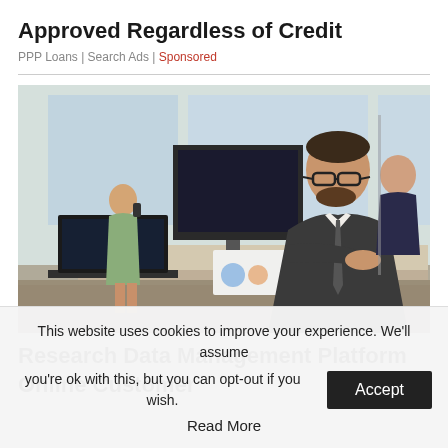Approved Regardless of Credit
PPP Loans | Search Ads | Sponsored
[Figure (photo): Office scene with a man in a suit working at a desk with a laptop and desktop monitor, a woman in the background on a phone, and another person seated at a table near large windows.]
Research Data Management Platform
Online Customer
This website uses cookies to improve your experience. We'll assume you're ok with this, but you can opt-out if you wish.
Accept
Read More